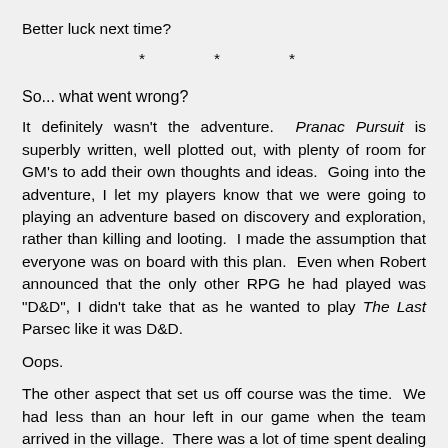Better luck next time?
* * *
So... what went wrong?
It definitely wasn't the adventure.  Pranac Pursuit is superbly written, well plotted out, with plenty of room for GM's to add their own thoughts and ideas.  Going into the adventure, I let my players know that we were going to playing an adventure based on discovery and exploration, rather than killing and looting.  I made the assumption that everyone was on board with this plan.  Even when Robert announced that the only other RPG he had played was "D&D", I didn't take that as he wanted to play The Last Parsec like it was D&D.
Oops.
The other aspect that set us off course was the time.  We had less than an hour left in our game when the team arrived in the village.  There was a lot of time spent dealing with the